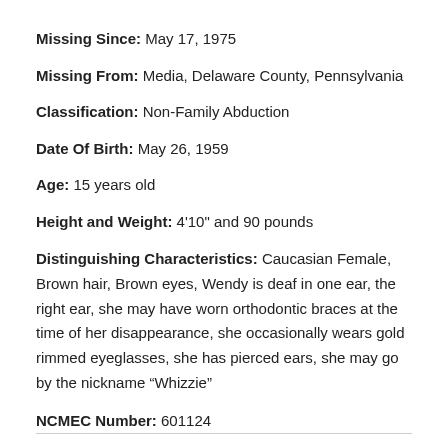Missing Since: May 17, 1975
Missing From: Media, Delaware County, Pennsylvania
Classification: Non-Family Abduction
Date Of Birth: May 26, 1959
Age: 15 years old
Height and Weight: 4'10" and 90 pounds
Distinguishing Characteristics: Caucasian Female, Brown hair, Brown eyes, Wendy is deaf in one ear, the right ear, she may have worn orthodontic braces at the time of her disappearance, she occasionally wears gold rimmed eyeglasses, she has pierced ears, she may go by the nickname “Whizzie”
NCMEC Number: 601124